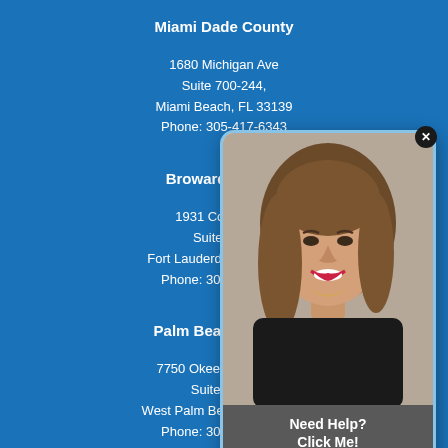Miami Dade County
1680 Michigan Ave
Suite 700-244,
Miami Beach, FL 33139
Phone: 305-417-6343
Broward C[ounty]
1931 Cordo[va St]
Suite #2[...]
Fort Lauderdale[, FL...]
Phone: 305-4[17-6343]
Palm Beach [County]
7750 Okeecho[bee Blvd]
Suite 4-4[...]
West Palm Beac[h, FL...]
Phone: 305-417-6343
[Figure (photo): Popup overlay showing a woman with long brown hair, smiling, wearing a black top. Overlay text reads 'Need Help? Click Me!']